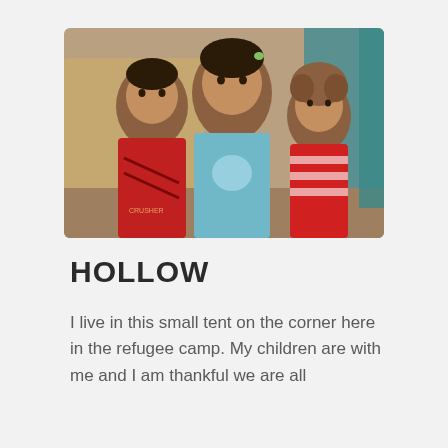[Figure (photo): Three children standing together outdoors near tents in a refugee camp. The child on the left wears a red shirt, the center child wears a light blue t-shirt with a graphic, and the child on the right wears a red striped top. All three are looking directly at the camera with serious expressions.]
HOLLOW
I live in this small tent on the corner here in the refugee camp. My children are with me and I am thankful we are all